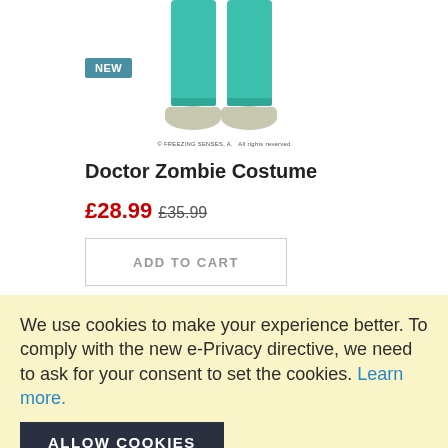[Figure (photo): Partial image of a Doctor Zombie Costume showing teal/green medical scrub pants and teal shoes on a white background, with a blue 'NEW' badge overlay]
© FREEZING SENSES, A. All rights reserved
Doctor Zombie Costume
£28.99 £35.99
ADD TO CART
We use cookies to make your experience better. To comply with the new e-Privacy directive, we need to ask for your consent to set the cookies. Learn more.
ALLOW COOKIES